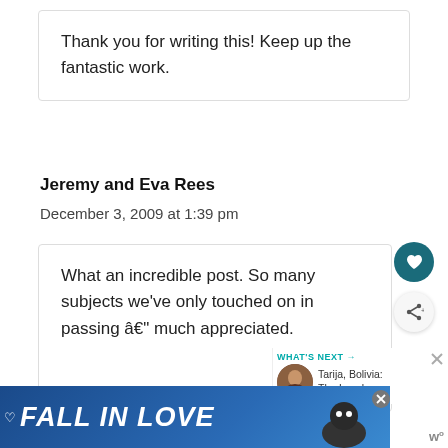Thank you for writing this! Keep up the fantastic work.
Jeremy and Eva Rees
December 3, 2009 at 1:39 pm
What an incredible post. So many subjects we’ve only touched on in passing â€” much appreciated.
[Figure (other): FALL IN LOVE advertisement banner with dog image]
[Figure (other): What's Next sidebar showing Tarija, Bolivia: The Lowdow... with avatar photo]